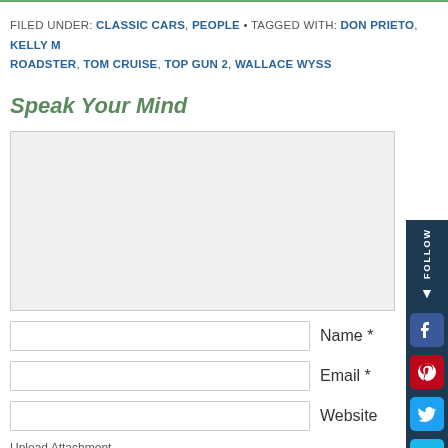FILED UNDER: CLASSIC CARS, PEOPLE • TAGGED WITH: DON PRIETO, KELLY M, ROADSTER, TOM CRUISE, TOP GUN 2, WALLACE WYSS
Speak Your Mind
Name *
Email *
Website
Upload Attachment